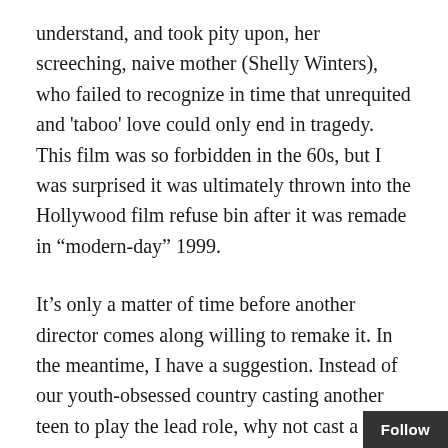understand, and took pity upon, her screeching, naive mother (Shelly Winters), who failed to recognize in time that unrequited and 'taboo' love could only end in tragedy. This film was so forbidden in the 60s, but I was surprised it was ultimately thrown into the Hollywood film refuse bin after it was remade in “modern-day” 1999.
It’s only a matter of time before another director comes along willing to remake it. In the meantime, I have a suggestion. Instead of our youth-obsessed country casting another teen to play the lead role, why not cast a 40-something–year–old who is mostly a responsible adult, but channels her inner-spaz the rest of the time? Maybe even replace the pitiful, middle aged, love-sick deviant with an infirm, megalomaniac, hedge fund manager-type who wheels around in a whee